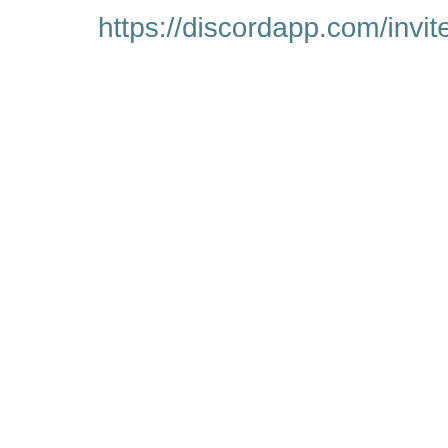https://discordapp.com/invite/lanoc